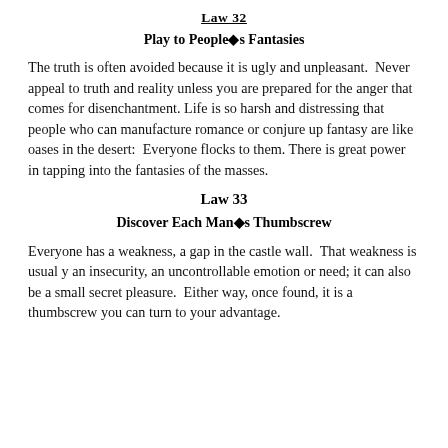Law 32
Play to People◆s Fantasies
The truth is often avoided because it is ugly and unpleasant.  Never appeal to truth and reality unless you are prepared for the anger that comes for disenchantment.  Life is so harsh and distressing that people who can manufacture romance or conjure up fantasy are like oases in the desert:  Everyone flocks to them.  There is great power in tapping into the fantasies of the masses.
Law 33
Discover Each Man◆s Thumbscrew
Everyone has a weakness, a gap in the castle wall.  That weakness is usual y an insecurity, an uncontrollable emotion or need; it can also be a small secret pleasure.  Either way, once found, it is a thumbscrew you can turn to your advantage.